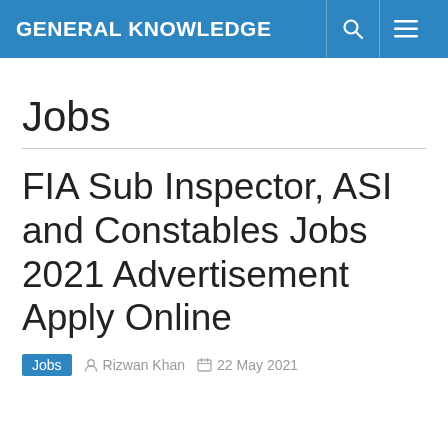GENERAL KNOWLEDGE
Jobs
FIA Sub Inspector, ASI and Constables Jobs 2021 Advertisement Apply Online
Jobs  Rizwan Khan  22 May 2021